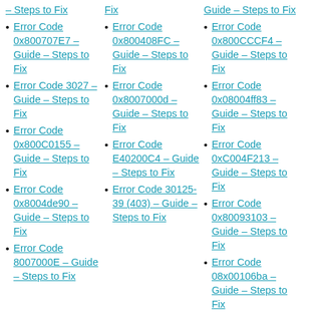– Steps to Fix
Fix
Guide – Steps to Fix
Error Code 0x800707E7 – Guide – Steps to Fix
Error Code 0x800408FC – Guide – Steps to Fix
Error Code 0x800CCCF4 – Guide – Steps to Fix
Error Code 3027 – Guide – Steps to Fix
Error Code 0x8007000d – Guide – Steps to Fix
Error Code 0x08004ff83 – Guide – Steps to Fix
Error Code 0x800C0155 – Guide – Steps to Fix
Error Code E40200C4 – Guide – Steps to Fix
Error Code 0xC004F213 – Guide – Steps to Fix
Error Code 0x8004de90 – Guide – Steps to Fix
Error Code 30125-39 (403) – Guide – Steps to Fix
Error Code 0x80093103 – Guide – Steps to Fix
Error Code 8007000E – Guide – Steps to Fix
Error Code 08x00106ba – Guide – Steps to Fix